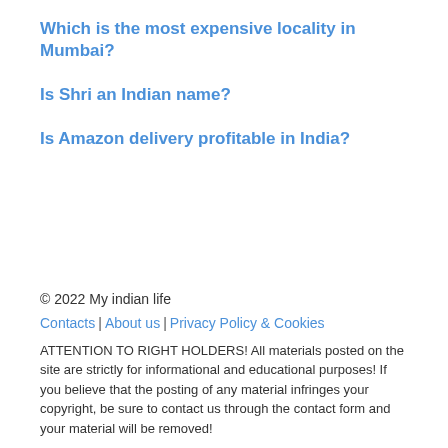Which is the most expensive locality in Mumbai?
Is Shri an Indian name?
Is Amazon delivery profitable in India?
© 2022 My indian life
Contacts | About us | Privacy Policy & Cookies
ATTENTION TO RIGHT HOLDERS! All materials posted on the site are strictly for informational and educational purposes! If you believe that the posting of any material infringes your copyright, be sure to contact us through the contact form and your material will be removed!